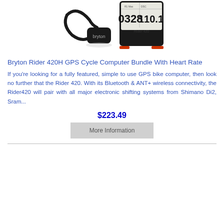[Figure (photo): Product photo showing Bryton Rider 420H GPS Cycle Computer bundle with heart rate monitor - displaying the device with screen showing 0328 and 110.1, along with a small black sensor]
Bryton Rider 420H GPS Cycle Computer Bundle With Heart Rate
If you're looking for a fully featured, simple to use GPS bike computer, then look no further that the Rider 420. With its Bluetooth & ANT+ wireless connectivity, the Rider420 will pair with all major electronic shifting systems from Shimano Di2, Sram...
$223.49
More Information